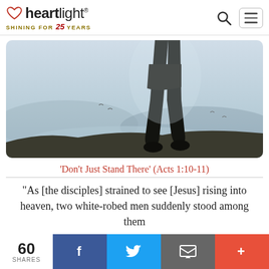heartlight® — SHINING FOR 25 YEARS
[Figure (photo): Silhouette of a person standing on a rocky mountain peak, viewed from waist down, with misty mountain landscape and lake in the background. Dramatic backlit scene.]
'Don't Just Stand There' (Acts 1:10-11)
"As [the disciples] strained to see [Jesus] rising into heaven, two white-robed men suddenly stood among them
60 SHARES  [Facebook] [Twitter] [Email] [+]